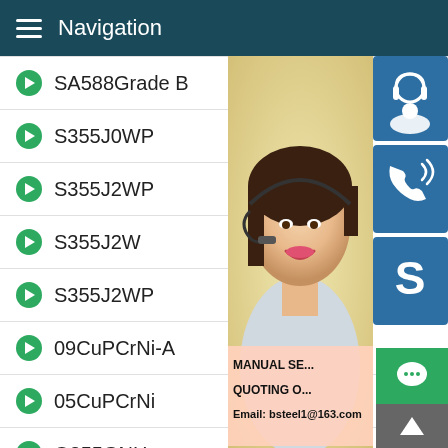Navigation
SA588Grade B
S355J0WP
S355J2WP
S355J2W
S355J2WP
09CuPCrNi-A
05CuPCrNi
Q355GNH
Q355NH
A204 Grade B
A285 Grade C
[Figure (photo): Customer service representative woman with headset, with blue icon buttons for support, phone, and Skype on the right side. Promotional text overlay: MANUAL SE... QUOTING O... Email: bsteel1@163.com]